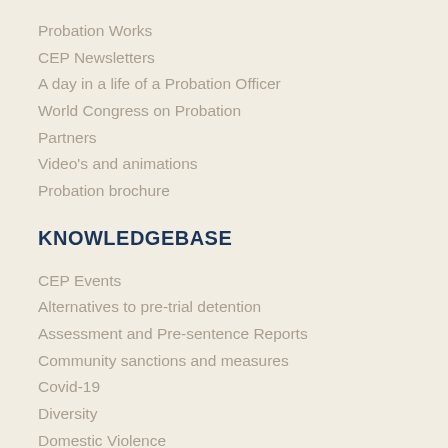Probation Works
CEP Newsletters
A day in a life of a Probation Officer
World Congress on Probation
Partners
Video's and animations
Probation brochure
KNOWLEDGEBASE
CEP Events
Alternatives to pre-trial detention
Assessment and Pre-sentence Reports
Community sanctions and measures
Covid-19
Diversity
Domestic Violence
Education & Training
Foreign Nationals in Prison and Probation
Framework Decisions
Interagency Cooperation